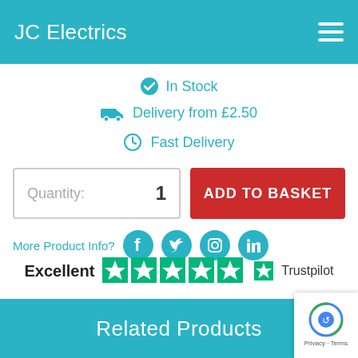JC Electrics
In Stock
Delivery from £2.50
Fast Delivery
Quantity: 1
ADD TO BASKET
More Product Info?
[Figure (logo): Trustpilot rating: Excellent with 4.5 stars and Trustpilot logo]
Related Products